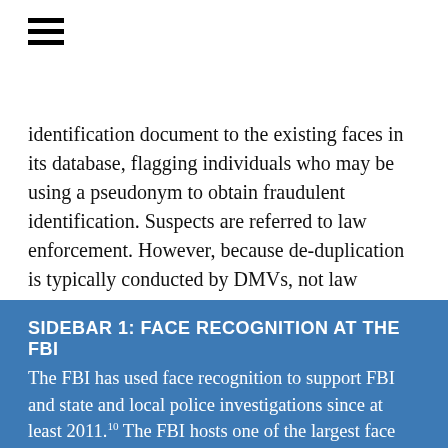identification document to the existing faces in its database, flagging individuals who may be using a pseudonym to obtain fraudulent identification. Suspects are referred to law enforcement. However, because de-duplication is typically conducted by DMVs, not law enforcement, this use of the technology will not be a focus of this report.
SIDEBAR 1: FACE RECOGNITION AT THE FBI
The FBI has used face recognition to support FBI and state and local police investigations since at least 2011.¹⁰ The FBI hosts one of the largest face recognition databases in the country, the Next Generation Identification Interstate Photo System (NGI-IPS). It is also home to a unit, Facial Analysis, Comparison, and Evaluation (FACE) Services, that